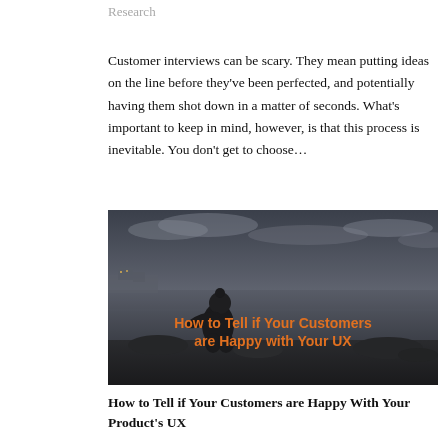Research
Customer interviews can be scary. They mean putting ideas on the line before they've been perfected, and potentially having them shot down in a matter of seconds. What's important to keep in mind, however, is that this process is inevitable. You don't get to choose…
[Figure (photo): Black and white photo of a person crouching on a rocky beach at dusk, with text overlay in orange: 'How to Tell if Your Customers are Happy with Your UX']
How to Tell if Your Customers are Happy With Your Product's UX